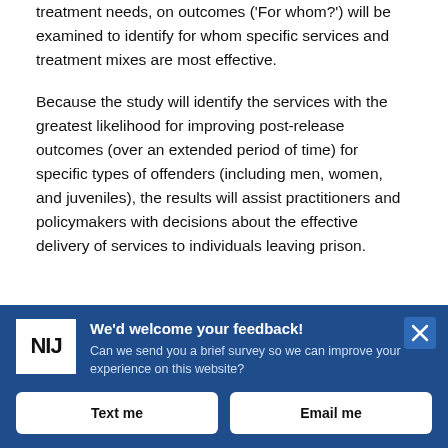treatment needs, on outcomes ('For whom?') will be examined to identify for whom specific services and treatment mixes are most effective.
Because the study will identify the services with the greatest likelihood for improving post-release outcomes (over an extended period of time) for specific types of offenders (including men, women, and juveniles), the results will assist practitioners and policymakers with decisions about the effective delivery of services to individuals leaving prison.
[Figure (screenshot): NIJ feedback banner with logo, headline 'We'd welcome your feedback!', subtext asking about survey, close button, and two buttons: 'Text me' and 'Email me'.]